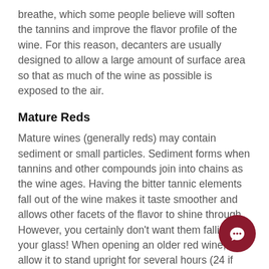breathe, which some people believe will soften the tannins and improve the flavor profile of the wine. For this reason, decanters are usually designed to allow a large amount of surface area so that as much of the wine as possible is exposed to the air.
Mature Reds
Mature wines (generally reds) may contain sediment or small particles. Sediment forms when tannins and other compounds join into chains as the wine ages. Having the bitter tannic elements fall out of the wine makes it taste smoother and allows other facets of the flavor to shine through. However, you certainly don't want them falling into your glass! When opening an older red wine, allow it to stand upright for several hours (24 if possible) to allow the fine particles to settle to the bottom. Then when